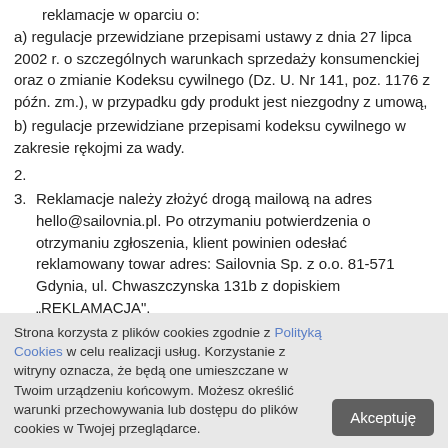reklamacje w oparciu o:
a) regulacje przewidziane przepisami ustawy z dnia 27 lipca 2002 r. o szczególnych warunkach sprzedaży konsumenckiej oraz o zmianie Kodeksu cywilnego (Dz. U. Nr 141, poz. 1176 z późn. zm.), w przypadku gdy produkt jest niezgodny z umową,
b) regulacje przewidziane przepisami kodeksu cywilnego w zakresie rękojmi za wady.
2.
3. Reklamacje należy złożyć drogą mailową na adres hello@sailovnia.pl. Po otrzymaniu potwierdzenia o otrzymaniu zgłoszenia, klient powinien odesłać reklamowany towar adres: Sailovnia Sp. z o.o. 81-571 Gdynia, ul. Chwaszczynska 131b z dopiskiem „REKLAMACJA".
4. Klient otrzyma informację o sposobie rozpatrzenia reklamacji w terminie 14 dni od dnia otrzymania przez Sklep przesyłki
Strona korzysta z plików cookies zgodnie z Polityką Cookies w celu realizacji usług. Korzystanie z witryny oznacza, że będą one umieszczane w Twoim urządzeniu końcowym. Możesz określić warunki przechowywania lub dostępu do plików cookies w Twojej przeglądarce.